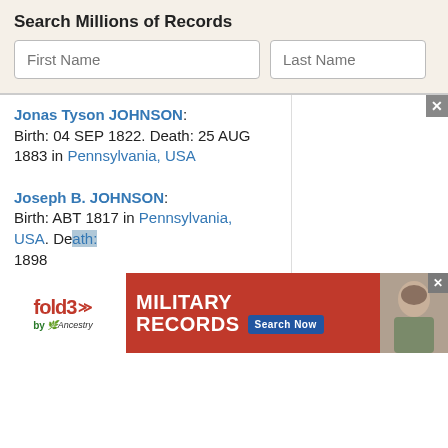Search Millions of Records
First Name
Last Name
Jonas Tyson JOHNSON: Birth: 04 SEP 1822. Death: 25 AUG 1883 in Pennsylvania, USA
Joseph B. JOHNSON: Birth: ABT 1817 in Pennsylvania, USA. De[ath:] 1898 [in]
[Figure (infographic): fold3 by Ancestry advertisement banner for Military Records with Search Now button and soldier photo]